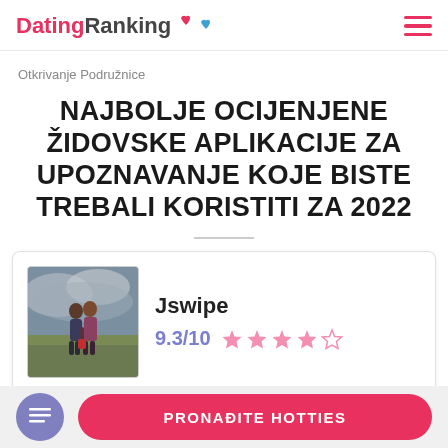DatingRanking [logo with hearts]
Otkrivanje Podružnice
NAJBOLJE OCIJENJENE ŽIDOVSKE APLIKACIJE ZA UPOZNAVANJE KOJE BISTE TREBALI KORISTITI ZA 2022
[Figure (photo): Couple kissing outdoors in a field under cloudy sky]
Jswipe
9.3/10 ★★★★☆